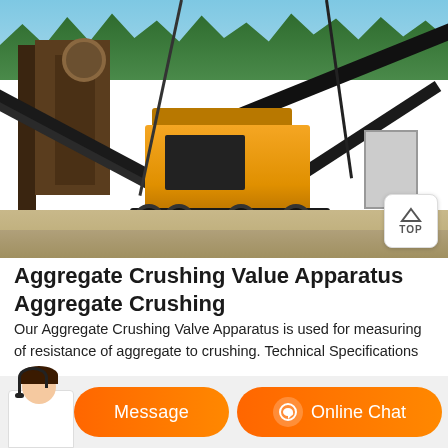[Figure (photo): Outdoor aggregate crushing site with yellow mobile crushing machine, conveyor belts, dark metal structure on left, gravel ground, trees and blue sky in background. A TOP button is visible in bottom-right corner of image.]
Aggregate Crushing Value Apparatus Aggregate Crushing
Our Aggregate Crushing Valve Apparatus is used for measuring of resistance of aggregate to crushing. Technical Specifications Consists of MS cylindrical container 150 mm t 0.5mm diameter x 130mm to 140mm hi with base plate 200 to 230 mmsqr x 6mm thick plunger of 148mm
[Figure (photo): Customer service representative avatar (woman with headset) overlaid on bottom-left with orange Message button and Online Chat button.]